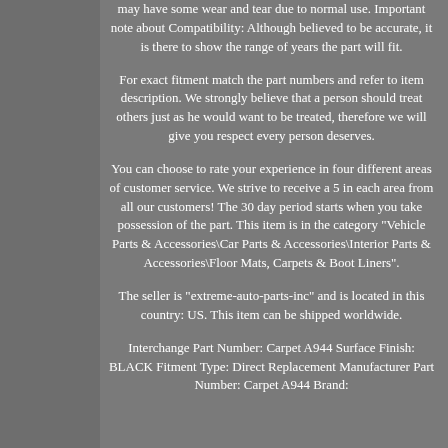may have some wear and tear due to normal use. Important note about Compatibility: Although believed to be accurate, it is there to show the range of years the part will fit.
For exact fitment match the part numbers and refer to item description. We strongly believe that a person should treat others just as he would want to be treated, therefore we will give you respect every person deserves.
You can choose to rate your experience in four different areas of customer service. We strive to receive a 5 in each area from all our customers! The 30 day period starts when you take possession of the part. This item is in the category "Vehicle Parts & Accessories\Car Parts & Accessories\Interior Parts & Accessories\Floor Mats, Carpets & Boot Liners".
The seller is "extreme-auto-parts-inc" and is located in this country: US. This item can be shipped worldwide.
Interchange Part Number: Carpet A944 Surface Finish: BLACK Fitment Type: Direct Replacement Manufacturer Part Number: Carpet A944 Brand: